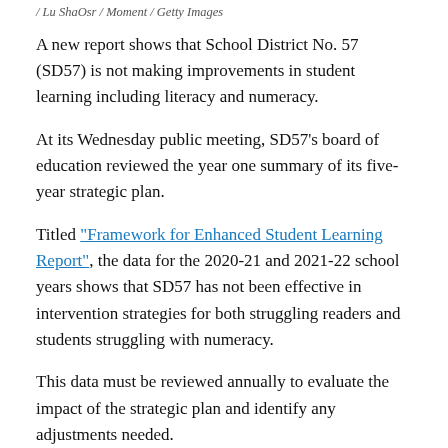/ Lu ShaOsr / Moment / Getty Images
A new report shows that School District No. 57 (SD57) is not making improvements in student learning including literacy and numeracy.
At its Wednesday public meeting, SD57’s board of education reviewed the year one summary of its five-year strategic plan.
Titled “Framework for Enhanced Student Learning Report”, the data for the 2020-21 and 2021-22 school years shows that SD57 has not been effective in intervention strategies for both struggling readers and students struggling with numeracy.
This data must be reviewed annually to evaluate the impact of the strategic plan and identify any adjustments needed.
“We see many of our learners below expectations for grade